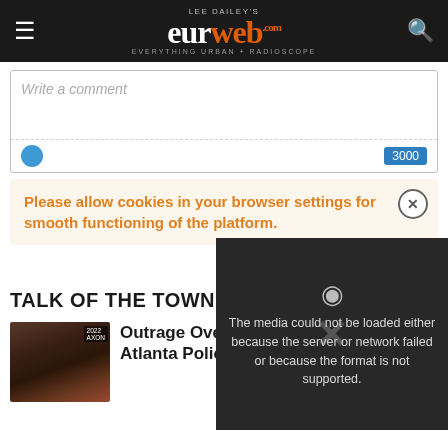LEE DAILEY'S eurweb EVERYTHING URBAN + RADIOSCOPE
Write a comment
3000
Please allow cookies in your browser settings for smooth functioning of the platform.
[Figure (screenshot): Media error overlay showing text: The media could not be loaded either because the server or network failed or because the format is not supported.]
Be the fi...
TALK OF THE TOWN
[Figure (photo): Thumbnail of a person, dark toned image with 2022 AXON watermark]
Outrage Over Viral Video Showing Atlanta Police Forceful Arrest of Black